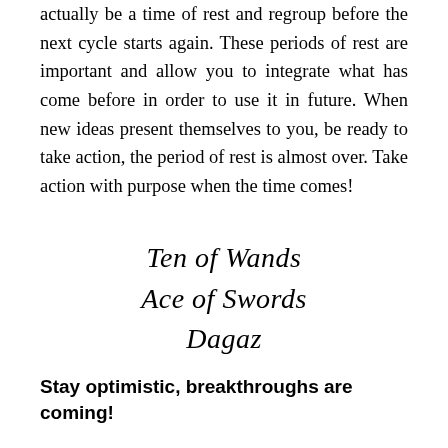actually be a time of rest and regroup before the next cycle starts again. These periods of rest are important and allow you to integrate what has come before in order to use it in future. When new ideas present themselves to you, be ready to take action, the period of rest is almost over. Take action with purpose when the time comes!
Ten of Wands
Ace of Swords
Dagaz
Stay optimistic, breakthroughs are coming!
Life presents challenges and we need to be...